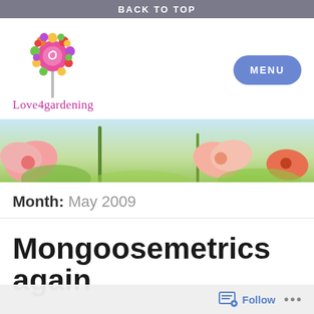BACK TO TOP
[Figure (logo): Love4gardening logo: colorful lollipop made of dots above text 'Love4gardening']
Month: May 2009
Mongoosemetrics again